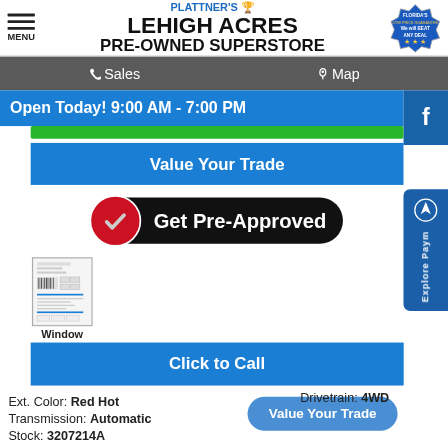PLATTNER'S LEHIGH ACRES PRE-OWNED SUPERSTORE
MENU
Sales   Map
Open Today! 9:00 AM - 7:00 PM
Value Your Trade
[Figure (illustration): Get Pre-Approved button with red checkmark circle on black rounded rectangle]
[Figure (illustration): Window Sticker document thumbnail image]
Window Sticker
Click to Call
Ext. Color: Red Hot
Transmission: Automatic
Stock: 3207214A
Drivetrain: 4WD
Value Your Trade
Explore Paym